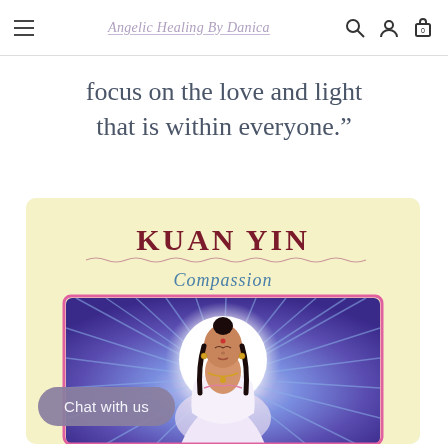Angelic Healing By Danica
focus on the love and light that is within everyone.”
[Figure (illustration): A Kuan Yin oracle card with cream/yellow background, featuring the title 'KUAN YIN' in large dark red serif capitals at top, a wavy decorative underline, the word 'Compassion' in teal/blue italic below that, and an illustrated figure of Kuan Yin deity with dark hair, serene expression, white robes, golden jewelry, surrounded by a large white glowing halo and blue/purple radiating light beams on a colorful background.]
Chat with us